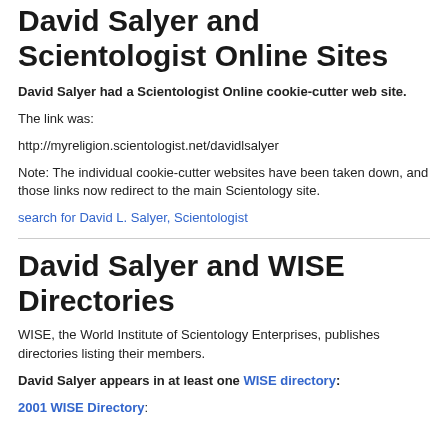David Salyer and Scientologist Online Sites
David Salyer had a Scientologist Online cookie-cutter web site.
The link was:
http://myreligion.scientologist.net/davidlsalyer
Note: The individual cookie-cutter websites have been taken down, and those links now redirect to the main Scientology site.
search for David L. Salyer, Scientologist
David Salyer and WISE Directories
WISE, the World Institute of Scientology Enterprises, publishes directories listing their members.
David Salyer appears in at least one WISE directory:
2001 WISE Directory: